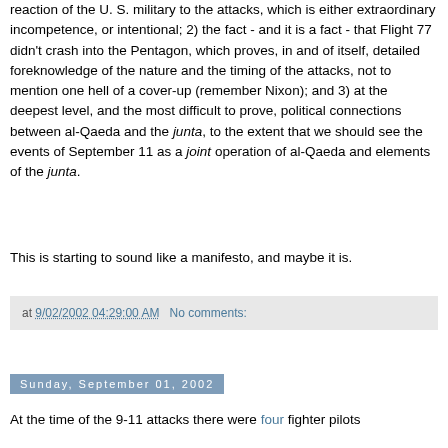reaction of the U. S. military to the attacks, which is either extraordinary incompetence, or intentional; 2) the fact - and it is a fact - that Flight 77 didn't crash into the Pentagon, which proves, in and of itself, detailed foreknowledge of the nature and the timing of the attacks, not to mention one hell of a cover-up (remember Nixon); and 3) at the deepest level, and the most difficult to prove, political connections between al-Qaeda and the junta, to the extent that we should see the events of September 11 as a joint operation of al-Qaeda and elements of the junta.
This is starting to sound like a manifesto, and maybe it is.
at 9/02/2002 04:29:00 AM   No comments:
Sunday, September 01, 2002
At the time of the 9-11 attacks there were four fighter pilots